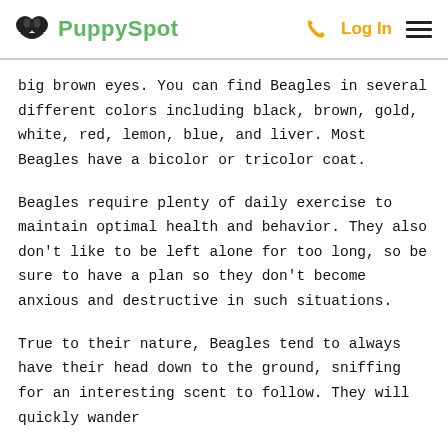PuppySpot | Log In
big brown eyes. You can find Beagles in several different colors including black, brown, gold, white, red, lemon, blue, and liver. Most Beagles have a bicolor or tricolor coat.
Beagles require plenty of daily exercise to maintain optimal health and behavior. They also don’t like to be left alone for too long, so be sure to have a plan so they don’t become anxious and destructive in such situations.
True to their nature, Beagles tend to always have their head down to the ground, sniffing for an interesting scent to follow. They will quickly wander